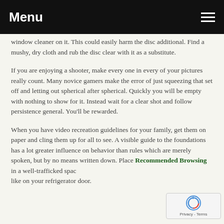Menu
window cleaner on it. This could easily harm the disc additional. Find a mushy, dry cloth and rub the disc clear with it as a substitute.
If you are enjoying a shooter, make every one in every of your pictures really count. Many novice gamers make the error of just squeezing that set off and letting out spherical after spherical. Quickly you will be empty with nothing to show for it. Instead wait for a clear shot and follow persistence general. You'll be rewarded.
When you have video recreation guidelines for your family, get them on paper and cling them up for all to see. A visible guide to the foundations has a lot greater influence on behavior than rules which are merely spoken, but by no means written down. Place Recommended Browsing in a well-trafficked space like on your refrigerator door.